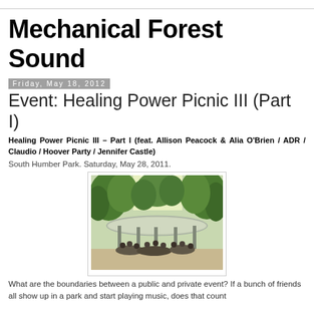Mechanical Forest Sound
Friday, May 18, 2012
Event: Healing Power Picnic III (Part I)
Healing Power Picnic III – Part I (feat. Allison Peacock & Alia O'Brien / ADR / Claudio / Hoover Party / Jennifer Castle)
South Humber Park. Saturday, May 28, 2011.
[Figure (photo): A park pavilion with a large flat circular roof/disc structure supported by posts, with a group of people gathered underneath. Surrounded by green trees.]
What are the boundaries between a public and private event? If a bunch of friends all show up in a park and start playing music, does that count